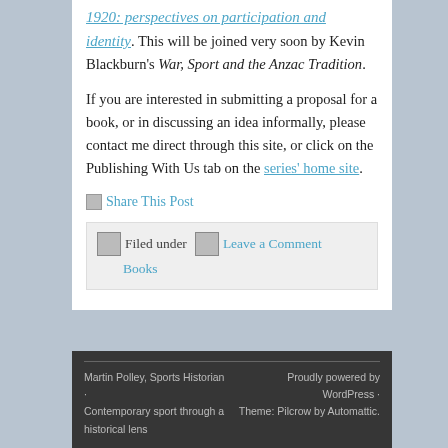1920: perspectives on participation and identity. This will be joined very soon by Kevin Blackburn's War, Sport and the Anzac Tradition.
If you are interested in submitting a proposal for a book, or in discussing an idea informally, please contact me direct through this site, or click on the Publishing With Us tab on the series' home site.
Share This Post
Filed under  Leave a Comment  Books
Martin Polley, Sports Historian · Contemporary sport through a historical lens  |  Proudly powered by WordPress · Theme: Pilcrow by Automattic.